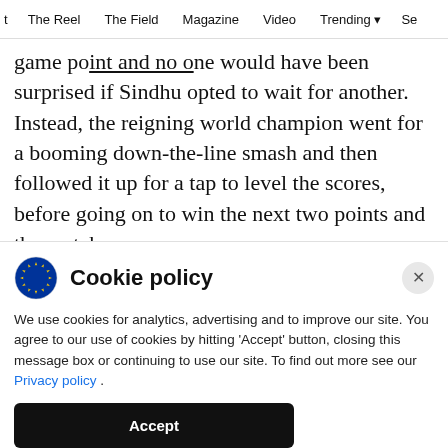The Reel | The Field | Magazine | Video | Trending | Se
game point and no one would have been surprised if Sindhu opted to wait for another. Instead, the reigning world champion went for a booming down-the-line smash and then followed it up for a tap to level the scores, before going on to win the next two points and the match.
ADVERTISEMENT
Cookie policy
We use cookies for analytics, advertising and to improve our site. You agree to our use of cookies by hitting 'Accept' button, closing this message box or continuing to use our site. To find out more see our Privacy policy .
Accept